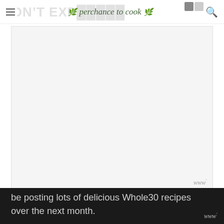perchance to cook
[Figure (photo): Large white/blank image placeholder with a watermark symbol in the bottom right corner]
Since I started the Whole30 over the weekend, I will be posting lots of delicious Whole30 recipes over the next month.